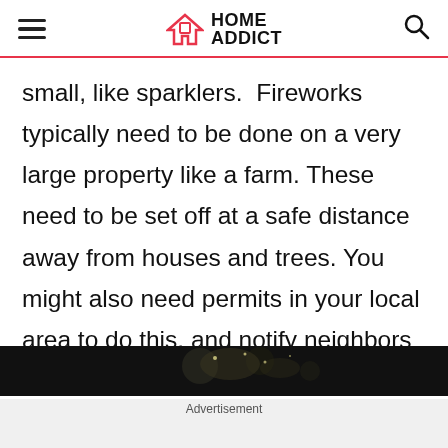HOME ADDICT
small, like sparklers.  Fireworks typically need to be done on a very large property like a farm. These need to be set off at a safe distance away from houses and trees. You might also need permits in your local area to do this, and notify neighbors and law enforcement.
[Figure (photo): Dark image of fireworks, shown as advertisement strip at bottom of page]
Advertisement